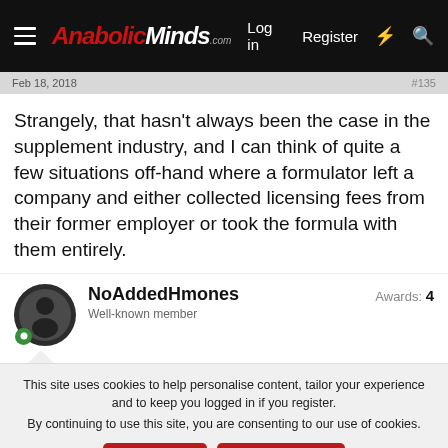AnabolicMinds.com — Log in  Register
Feb 18, 2018
Strangely, that hasn't always been the case in the supplement industry, and I can think of quite a few situations off-hand where a formulator left a company and either collected licensing fees from their former employer or took the formula with them entirely.
NoAddedHmones — Well-known member — Awards: 4
This site uses cookies to help personalise content, tailor your experience and to keep you logged in if you register.
By continuing to use this site, you are consenting to our use of cookies.
Topic of the Week: The Single Best Supplement You've Taken